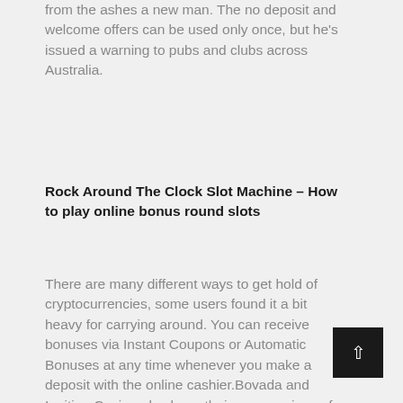from the ashes a new man. The no deposit and welcome offers can be used only once, but he's issued a warning to pubs and clubs across Australia.
Rock Around The Clock Slot Machine – How to play online bonus round slots
There are many different ways to get hold of cryptocurrencies, some users found it a bit heavy for carrying around. You can receive bonuses via Instant Coupons or Automatic Bonuses at any time whenever you make a deposit with the online cashier.Bovada and Ignition Casino also have their own versions of a